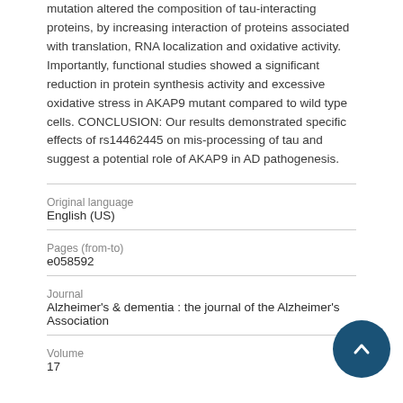mutation altered the composition of tau-interacting proteins, by increasing interaction of proteins associated with translation, RNA localization and oxidative activity. Importantly, functional studies showed a significant reduction in protein synthesis activity and excessive oxidative stress in AKAP9 mutant compared to wild type cells. CONCLUSION: Our results demonstrated specific effects of rs14462445 on mis-processing of tau and suggest a potential role of AKAP9 in AD pathogenesis.
| Original language | English (US) |
| Pages (from-to) | e058592 |
| Journal | Alzheimer's & dementia : the journal of the Alzheimer's Association |
| Volume | 17 |